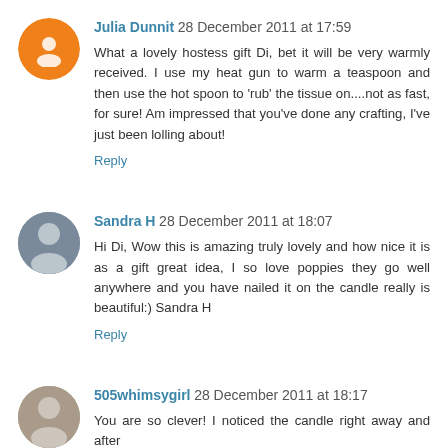Julia Dunnit 28 December 2011 at 17:59
What a lovely hostess gift Di, bet it will be very warmly received. I use my heat gun to warm a teaspoon and then use the hot spoon to 'rub' the tissue on....not as fast, for sure! Am impressed that you've done any crafting, I've just been lolling about!
Reply
Sandra H 28 December 2011 at 18:07
Hi Di, Wow this is amazing truly lovely and how nice it is as a gift great idea, I so love poppies they go well anywhere and you have nailed it on the candle really is beautiful:) Sandra H
Reply
505whimsygirl 28 December 2011 at 18:17
You are so clever! I noticed the candle right away and after